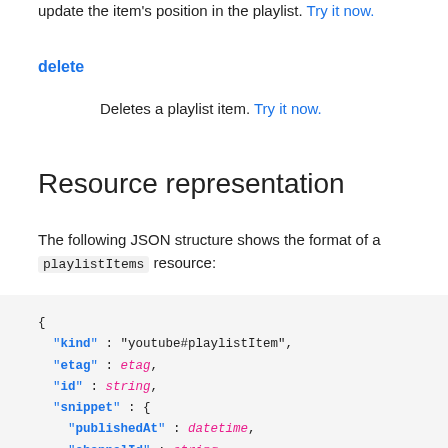update the item's position in the playlist. Try it now.
delete
Deletes a playlist item. Try it now.
Resource representation
The following JSON structure shows the format of a playlistItems resource:
{
  "kind" : "youtube#playlistItem",
  "etag" : etag,
  "id" : string,
  "snippet" : {
    "publishedAt" : datetime,
    "channelId" : string,
    "title" : string,